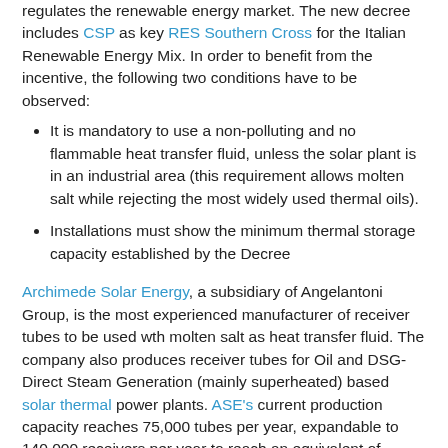regulates the renewable energy market. The new decree includes CSP as key RES Southern Cross for the Italian Renewable Energy Mix. In order to benefit from the incentive, the following two conditions have to be observed:
It is mandatory to use a non-polluting and no flammable heat transfer fluid, unless the solar plant is in an industrial area (this requirement allows molten salt while rejecting the most widely used thermal oils).
Installations must show the minimum thermal storage capacity established by the Decree
Archimede Solar Energy, a subsidiary of Angelantoni Group, is the most experienced manufacturer of receiver tubes to be used wth molten salt as heat transfer fluid. The company also produces receiver tubes for Oil and DSG-Direct Steam Generation (mainly superheated) based solar thermal power plants. ASE's current production capacity reaches 75,000 tubes per year, expandable to 140,000 receivers per year to reach an equivalent of 350MWe per year.